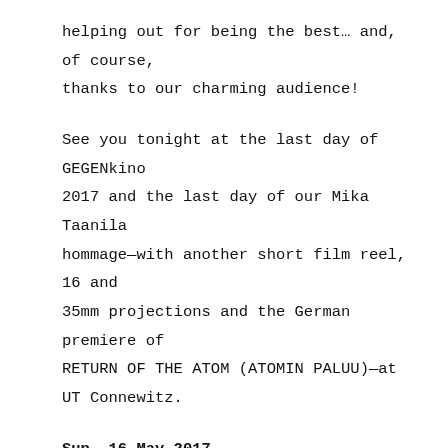helping out for being the best… and, of course, thanks to our charming audience!
See you tonight at the last day of GEGENkino 2017 and the last day of our Mika Taanila hommage—with another short film reel, 16 and 35mm projections and the German premiere of RETURN OF THE ATOM (ATOMIN PALUU)—at UT Connewitz.
Sun, 16 May 2017
8pm, UT Connewitz
Short film reel II: THE FUTURE IS NOT WHAT IT USED TO BE
The Zone of Total Eclipse (FIN 2006, 6', no